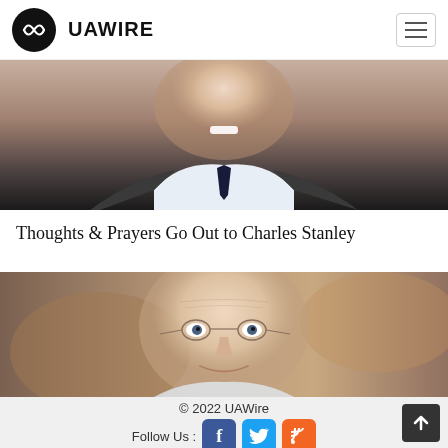UAWIRE
[Figure (photo): Close-up photo of a man in a suit and tie, smiling, partially cropped]
Thoughts & Prayers Go Out to Charles Stanley
[Figure (photo): Close-up portrait of an elderly man wearing wire-rimmed glasses, smiling gently]
© 2022 UAWire